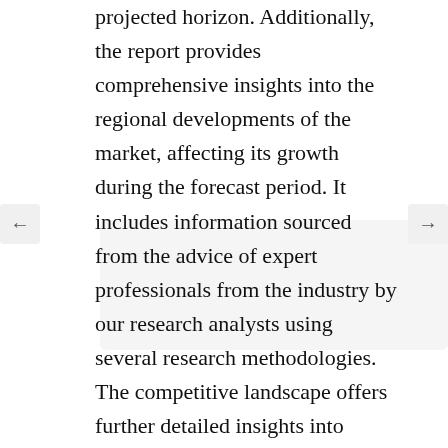projected horizon. Additionally, the report provides comprehensive insights into the regional developments of the market, affecting its growth during the forecast period. It includes information sourced from the advice of expert professionals from the industry by our research analysts using several research methodologies. The competitive landscape offers further detailed insights into strategies such as product launches, partnership, merger and acquisition, and collaborations adopted by the companies to maintain market stronghold between 2022 and 2030.